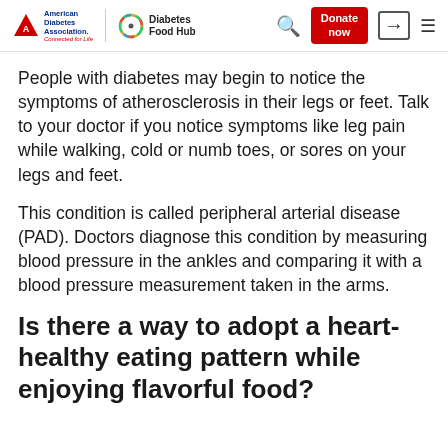American Diabetes Association. Connected for Life. | Diabetes Food Hub | [Search] [Donate now] [Login] [Menu]
People with diabetes may begin to notice the symptoms of atherosclerosis in their legs or feet. Talk to your doctor if you notice symptoms like leg pain while walking, cold or numb toes, or sores on your legs and feet.
This condition is called peripheral arterial disease (PAD). Doctors diagnose this condition by measuring blood pressure in the ankles and comparing it with a blood pressure measurement taken in the arms.
Is there a way to adopt a heart-healthy eating pattern while enjoying flavorful food?